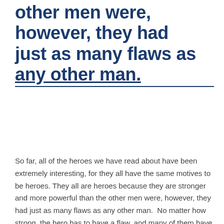other men were, however, they had just as many flaws as any other man.
So far, all of the heroes we have read about have been extremely interesting, for they all have the same motives to be heroes. They all are heroes because they are stronger and more powerful than the other men were, however, they had just as many flaws as any other man.  No matter how strong, the hero has to have a flaw, and many of them have lots of flaws. They are selfish, narcissistic, and too confident. All of those traits can bring a hero to victory, as well as, bring their downfall. Sigurth is one of the many heroes that start off bad in my mind, for we were first introduced to him